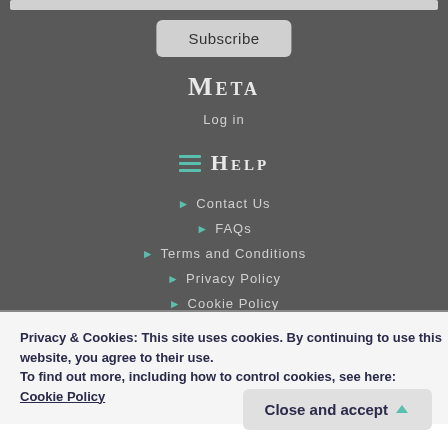Subscribe
Meta
Log in
Help
Contact Us
FAQs
Terms and Conditions
Privacy Policy
Cookie Policy
Privacy & Cookies: This site uses cookies. By continuing to use this website, you agree to their use. To find out more, including how to control cookies, see here: Cookie Policy
Close and accept